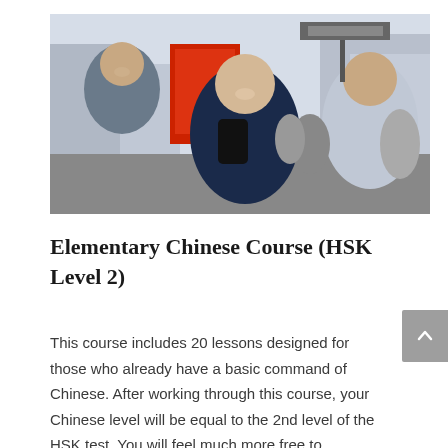[Figure (photo): Three people smiling and talking on a busy Asian street market. A man on the left in a blue plaid shirt, a woman in the center with a backpack smiling broadly, and a woman on the right with short hair. Red signage and city buildings in the background.]
Elementary Chinese Course (HSK Level 2)
This course includes 20 lessons designed for those who already have a basic command of Chinese. After working through this course, your Chinese level will be equal to the 2nd level of the HSK test. You will feel much more free to...